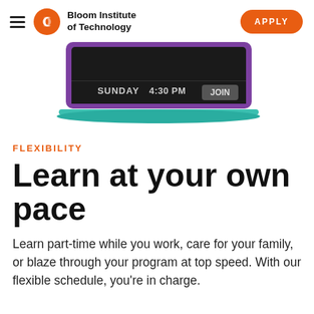Bloom Institute of Technology  APPLY
[Figure (illustration): Laptop screen showing a scheduling interface with 'SUNDAY', '4:30 PM', and a 'JOIN' button on a dark background, with a teal/purple laptop base.]
FLEXIBILITY
Learn at your own pace
Learn part-time while you work, care for your family, or blaze through your program at top speed. With our flexible schedule, you're in charge.